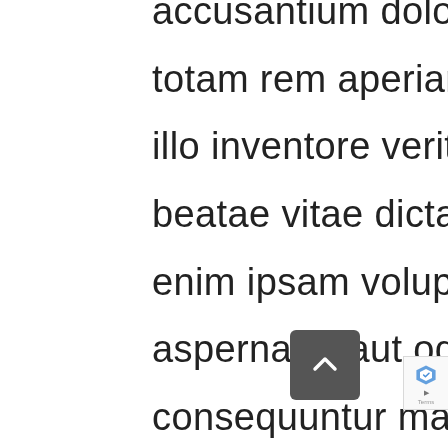accusantium doloremque laudantium, totam rem aperiam, eaque ipsa quae ab illo inventore veritatis et quasi architecto beatae vitae dicta sunt explicabo. Nemo enim ipsam voluptatem quia voluptas sit aspernatur aut odit aut fugit, sed quia consequuntur magni dolores eos qui ratione voluptatem sequi nesciunt. Neque porro quisquam est, qui dolorem ipsum